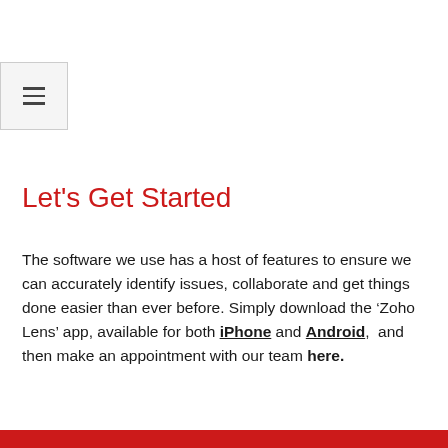[Figure (other): Hamburger menu icon button — three horizontal lines inside a light gray bordered square]
Let's Get Started
The software we use has a host of features to ensure we can accurately identify issues, collaborate and get things done easier than ever before. Simply download the ‘Zoho Lens’ app, available for both iPhone and Android, and then make an appointment with our team here.